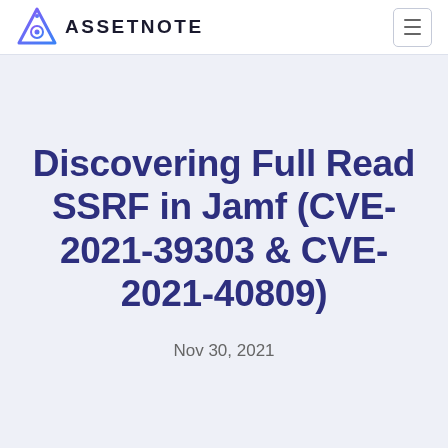[Figure (logo): Assetnote logo with triangular mountain/gear icon in blue-purple gradient and the text ASSETNOTE in bold dark letters]
Discovering Full Read SSRF in Jamf (CVE-2021-39303 & CVE-2021-40809)
Nov 30, 2021